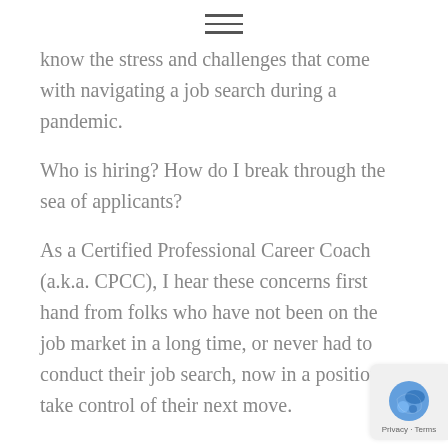≡
know the stress and challenges that come with navigating a job search during a pandemic.
Who is hiring? How do I break through the sea of applicants?
As a Certified Professional Career Coach (a.k.a. CPCC), I hear these concerns first hand from folks who have not been on the job market in a long time, or never had to conduct their job search, now in a position to take control of their next move.